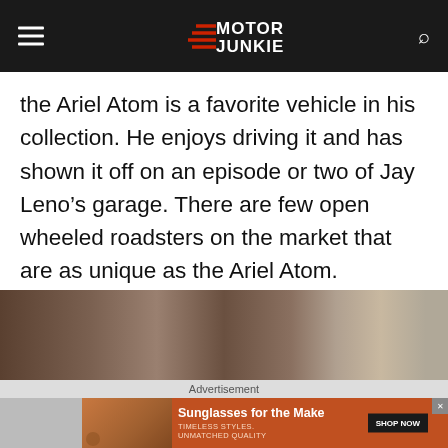Motor Junkie
the Ariel Atom is a favorite vehicle in his collection. He enjoys driving it and has shown it off on an episode or two of Jay Leno’s garage. There are few open wheeled roadsters on the market that are as unique as the Ariel Atom.
[Figure (photo): Partial photo of what appears to be Jay Leno in a garage setting]
Advertisement
[Figure (photo): Advertisement banner: Sunglasses for the Make - Timeless styles, unmatched quality. Shows two women wearing sunglasses. SHOP NOW button.]